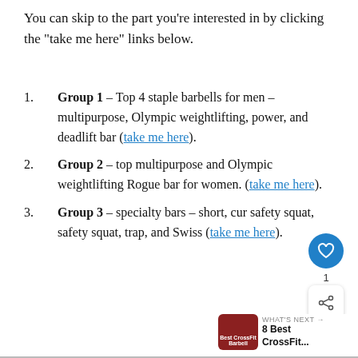You can skip to the part you’re interested in by clicking the “take me here” links below.
Group 1 – Top 4 staple barbells for men – multipurpose, Olympic weightlifting, power, and deadlift bar (take me here).
Group 2 – top multipurpose and Olympic weightlifting Rogue bar for women. (take me here).
Group 3 – specialty bars – short, cur safety squat, safety squat, trap, and Swiss (take me here).